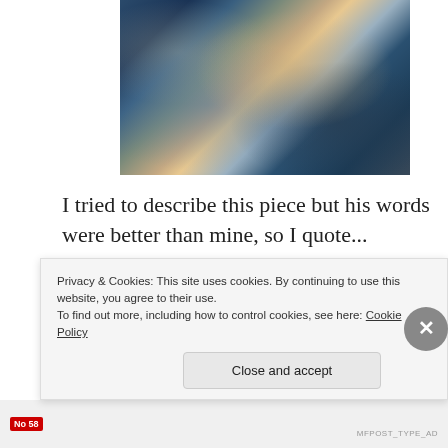[Figure (photo): An abstract or expressionist painting showing a man, with dark blues, greens, and warm ochre tones, heavily textured brushwork suggesting a portrait with convoluted, fragmented identity.]
I tried to describe this piece but his words were better than mine, so I quote...
“Split Image is the portrait of a man drenched in the mesmerizing but indefinable contours of a convoluted identity. This is the portrait of a proud and defiant individual who comports himself with
Privacy & Cookies: This site uses cookies. By continuing to use this website, you agree to their use.
To find out more, including how to control cookies, see here: Cookie Policy
Close and accept